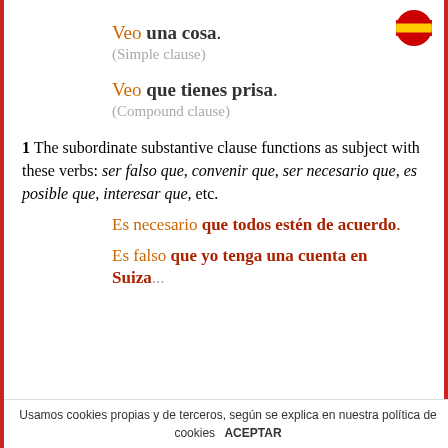Veo una cosa.
(Simple clause)
Veo que tienes prisa.
(Compound clause)
1 The subordinate substantive clause functions as subject with these verbs: ser falso que, convenir que, ser necesario que, es posible que, interesar que, etc.
Es necesario que todos estén de acuerdo.
Es falso que yo tenga una cuenta en Suiza...
Usamos cookies propias y de terceros, según se explica en nuestra política de cookies   ACEPTAR